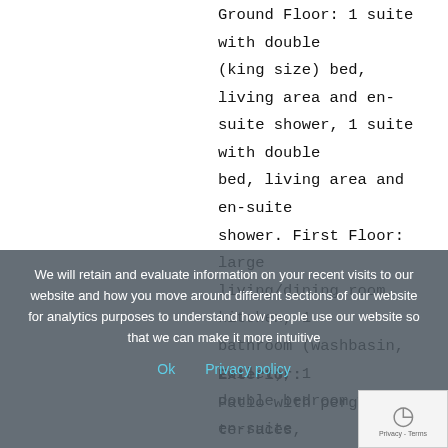Ground Floor: 1 suite with double (king size) bed, living area and en-suite shower, 1 suite with double bed, living area and en-suite shower. First Floor: large living/dining room, kitchen, 1 bathroom (washbasin, toilet), 1 double bedroom with en-suite shower. ANNEX Ground Floor: living/dining room with kitchenette, 1 single bedroom, 1 bathroom with shower. First Floor: 1 double bedroom with en-suite
We will retain and evaluate information on your recent visits to our website and how you move around different sections of our website for analytics purposes to understand how people use our website so that we can make it more intuitive
Ok  Privacy policy
Exterior:
Patio with pergola, terraces,